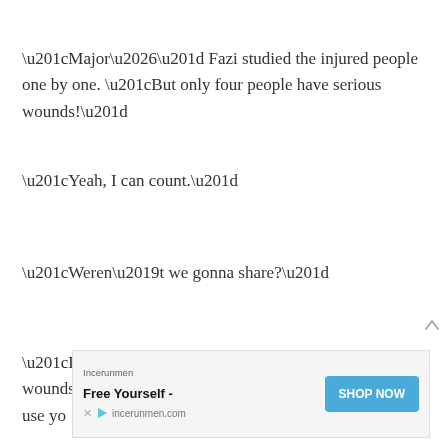“Major…” Fazi studied the injured people one by one. “But only four people have serious wounds!”
“Yeah, I can count.”
“Weren’t we gonna share?”
“But we are sharing. I’ll take care of the minor wounds and use yo
[Figure (other): Advertisement banner: Incerunmen brand, 'Free Yourself - incerunmen.com' with SHOP NOW button]